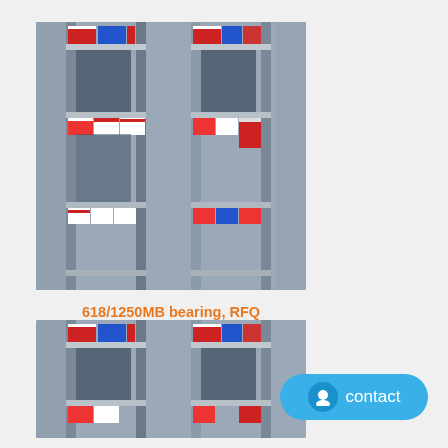[Figure (photo): Warehouse shelving with red and blue product boxes on metal shelves]
618/1250MB bearing, RFQ 618/1250MB bearing High Quality
[Figure (photo): Warehouse shelving with red and blue product boxes on metal shelves (second instance, partially visible)]